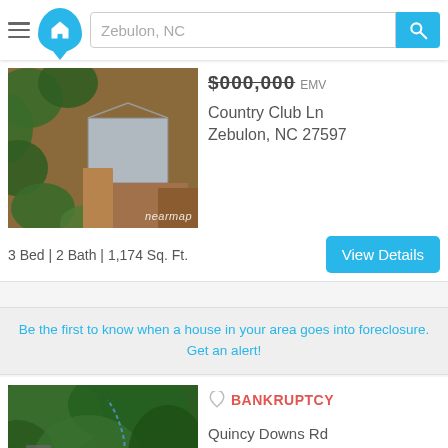Zebulon, NC
$000,000 EMV
Country Club Ln
Zebulon, NC 27597
[Figure (photo): Aerial/satellite view of a building under construction with red clay soil and trees, watermarked with 'nearmap']
3 Bed | 2 Bath | 1,174 Sq. Ft.
Be the first to know when a house in your area goes into foreclosure. Get an alert!
BANKRUPTCY
Quincy Downs Rd
Zebulon, NC 27597
[Figure (photo): Aerial/satellite view of a tree-covered property with a path/road visible, watermarked with 'PixelNow']